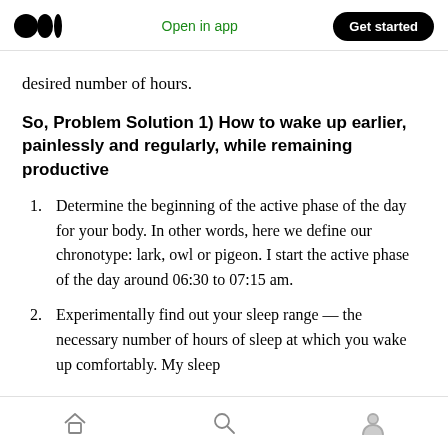Medium logo | Open in app | Get started
desired number of hours.
So, Problem Solution 1) How to wake up earlier, painlessly and regularly, while remaining productive
1. Determine the beginning of the active phase of the day for your body. In other words, here we define our chronotype: lark, owl or pigeon. I start the active phase of the day around 06:30 to 07:15 am.
2. Experimentally find out your sleep range — the necessary number of hours of sleep at which you wake up comfortably. My sleep
Home | Search | Profile